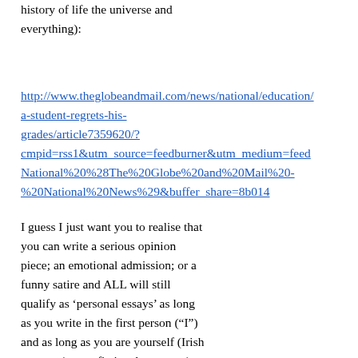history of life the universe and everything):
http://www.theglobeandmail.com/news/national/education/a-student-regrets-his-grades/article7359620/?cmpid=rss1&utm_source=feedburner&utm_medium=feedNational%20%28The%20Globe%20and%20Mail%20-%20National%20News%29&buffer_share=8b014
I guess I just want you to realise that you can write a serious opinion piece; an emotional admission; or a funny satire and ALL will still qualify as ‘personal essays’ as long as you write in the first person (“I”) and as long as you are yourself (Irish teenager) not a fictional narrator (a witchdoctor, a talking rubbish bin or